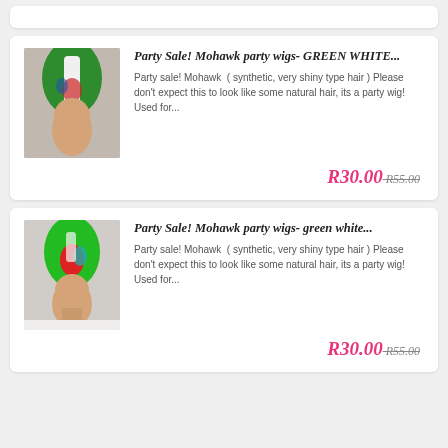[Figure (photo): Partial top card stub (white card at very top, cropped)]
Party Sale! Mohawk party wigs- GREEN WHITE...
Party sale! Mohawk ( synthetic, very shiny type hair ) Please don't expect this to look like some natural hair, its a party wig! Used for...
R30.00 R55.00
Party Sale! Mohawk party wigs- green white...
Party sale! Mohawk ( synthetic, very shiny type hair ) Please don't expect this to look like some natural hair, its a party wig! Used for...
R30.00 R55.00